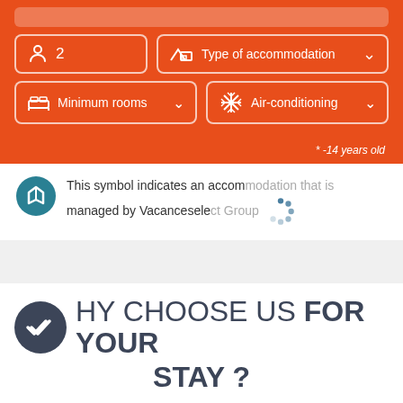[Figure (screenshot): Orange search filter UI with boxes for guest count (2), type of accommodation dropdown, minimum rooms dropdown, and air-conditioning dropdown]
* -14 years old
This symbol indicates an accommodation that is managed by Vacanceselect Group
WHY CHOOSE US FOR YOUR STAY ?